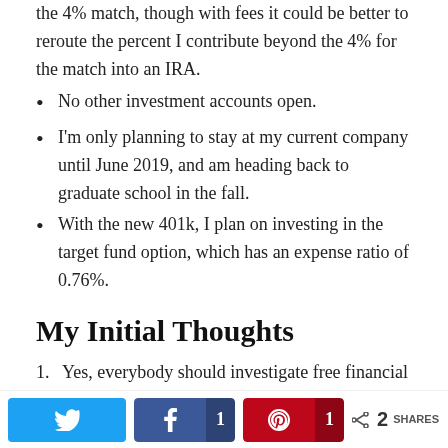the 4% match, though with fees it could be better to reroute the percent I contribute beyond the 4% for the match into an IRA.
No other investment accounts open.
I'm only planning to stay at my current company until June 2019, and am heading back to graduate school in the fall.
With the new 401k, I plan on investing in the target fund option, which has an expense ratio of 0.76%.
My Initial Thoughts
Yes, everybody should investigate free financial resources at their local library! Just be wary of any kinds of services they might be trying to sell you.
A was super smart and proactive when she asked about the fees in school with having the scholarship th
Twitter share | Facebook 1 share | Pinterest 1 share | < 2 SHARES